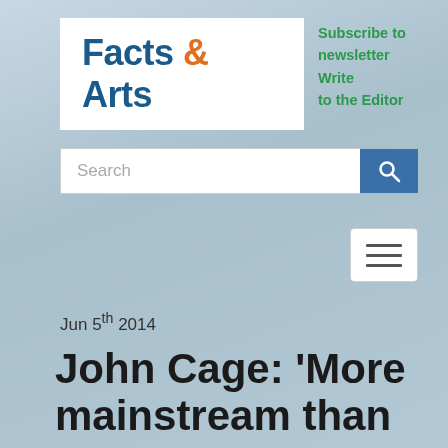[Figure (logo): Facts & Arts website logo with white background, dark blue text 'Facts & Arts' with orange ampersand, and green navigation links 'Subscribe to newsletter Write to the Editor']
[Figure (screenshot): Search bar with white input field showing placeholder text 'Search' and blue search button with magnifying glass icon]
[Figure (other): Hamburger menu icon button with three horizontal lines]
Jun 5th 2014
John Cage: ‘More mainstream than ever’
by Michael Johnson
Michael Johnson is a music critic with